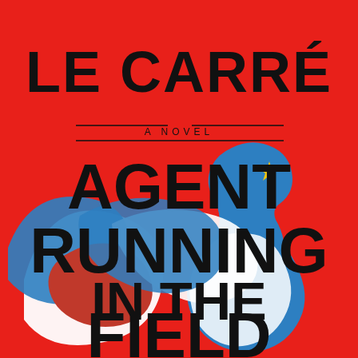[Figure (illustration): Book cover for 'Agent Running in the Field' by John le Carré. Red background with bold black text. Center illustration shows a blue silhouette of a running man with a small yellow star on the head, surrounded by swirling white and blue abstract shapes suggesting motion. The cover displays the author name at top, 'A NOVEL' subtitle in the middle, and the book title large across the bottom half.]